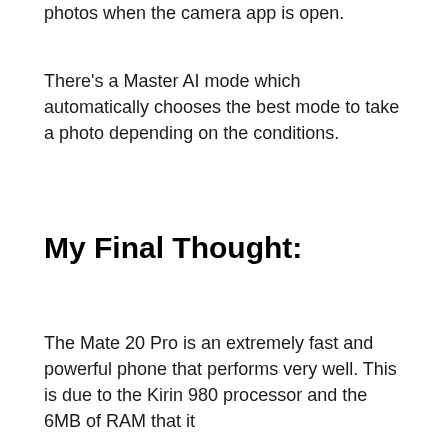photos when the camera app is open.
There's a Master AI mode which automatically chooses the best mode to take a photo depending on the conditions.
My Final Thought:
The Mate 20 Pro is an extremely fast and powerful phone that performs very well. This is due to the Kirin 980 processor and the 6MB of RAM that it